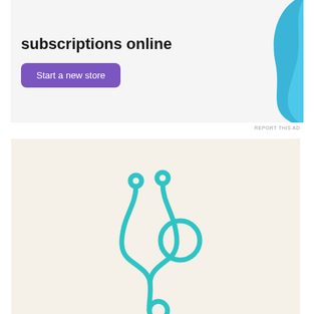[Figure (infographic): Advertisement banner with text 'subscriptions online' and a purple 'Start a new store' button, with cyan decorative blob on the right]
REPORT THIS AD
[Figure (illustration): Stethoscope icon outline in teal/cyan color on a beige/cream background]
Advertisements
[Figure (infographic): DuckDuckGo advertisement banner: 'Search, browse, and email with more privacy. All in One Free App' on orange background with DuckDuckGo logo on dark background]